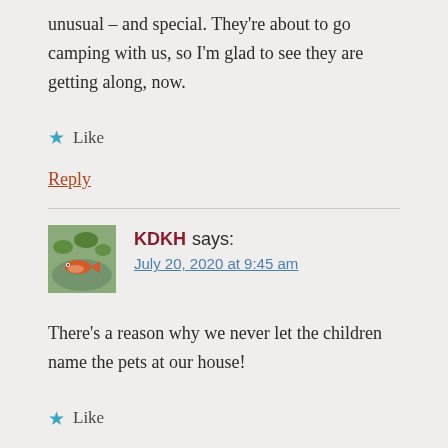unusual – and special. They're about to go camping with us, so I'm glad to see they are getting along, now.
★ Like
Reply
KDKH says:
July 20, 2020 at 9:45 am
There's a reason why we never let the children name the pets at our house!
★ Like
Reply